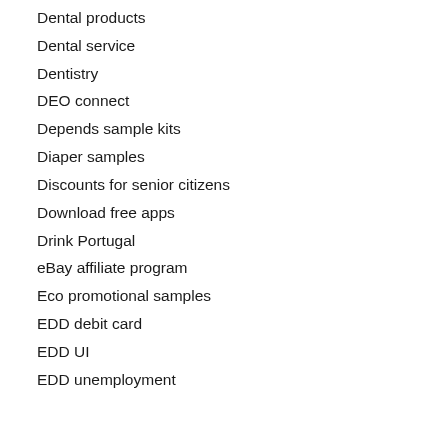Dental products
Dental service
Dentistry
DEO connect
Depends sample kits
Diaper samples
Discounts for senior citizens
Download free apps
Drink Portugal
eBay affiliate program
Eco promotional samples
EDD debit card
EDD UI
EDD unemployment